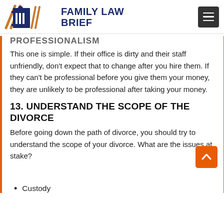FAMILY LAW BRIEF
PROFESSIONALISM
This one is simple. If their office is dirty and their staff unfriendly, don't expect that to change after you hire them. If they can't be professional before you give them your money, they are unlikely to be professional after taking your money.
13. UNDERSTAND THE SCOPE OF THE DIVORCE
Before going down the path of divorce, you should try to understand the scope of your divorce. What are the issues at stake?
Custody